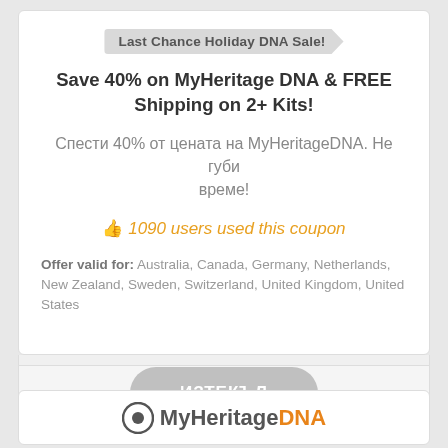Last Chance Holiday DNA Sale!
Save 40% on MyHeritage DNA & FREE Shipping on 2+ Kits!
Спести 40% от цената на MyHeritageDNA. Не губи време!
👍 1090 users used this coupon
Offer valid for: Australia, Canada, Germany, Netherlands, New Zealand, Sweden, Switzerland, United Kingdom, United States
[Figure (other): Expired coupon button with text ИЗТЕКЪЛ]
[Figure (logo): MyHeritage DNA logo at the bottom of the page]